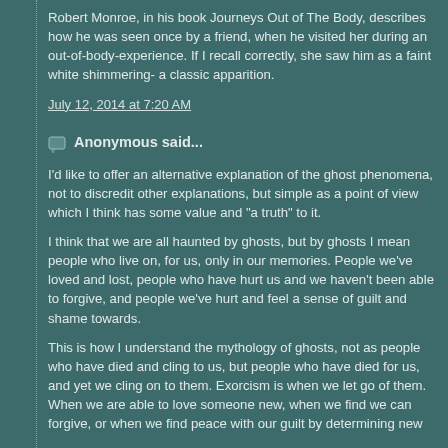Robert Monroe, in his book Journeys Out of The Body, describes how he was seen once by a friend, when he visited her during an out-of-body-experience. If I recall correctly, she saw him as a faint white shimmering- a classic apparition.
July 12, 2014 at 7:20 AM
Anonymous said...
I'd like to offer an alternative explanation of the ghost phenomena, not to discredit other explanations, but simple as a point of view which I think has some value and "a truth" to it.
I think that we are all haunted by ghosts, but by ghosts I mean people who live on, for us, only in our memories. People we've loved and lost, people who have hurt us and we haven't been able to forgive, and people we've hurt and feel a sense of guilt and shame towards.
This is how I understand the mythology of ghosts, not as people who have died and cling to us, but people who have died for us, and yet we cling on to them. Exorcism is when we let go of them. When we are able to love someone new, when we find we can forgive, or when we find peace with our guilt by determining new